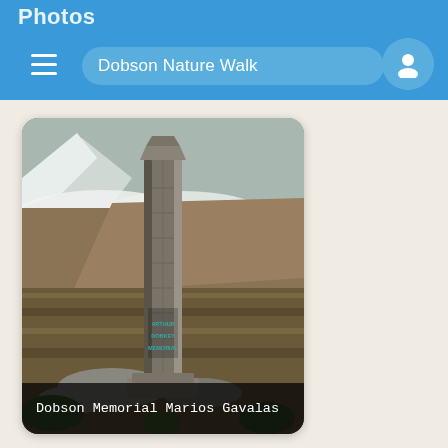Photos
Dobson Nature Walk
[Figure (photo): Photograph of a tall stone obelisk/monument pillar standing in mountainous terrain with mist, snow-capped hills and brown tussock landscape. Text on the monument reads 'ARTHUR DOBSON MEMORIAL'. Caption overlay reads 'Dobson Memorial  Marios Gavalas'.]
Dobson Memorial  Marios Gavalas